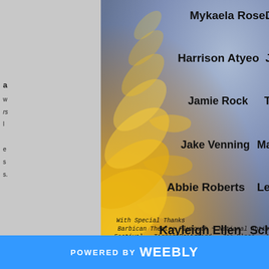[Figure (photo): Partial view of a theatrical or arts production credits page. The background is a Van Gogh-style swirling painting (yellows, blues) with names overlaid in bold black text. Names visible include Mykaela Roselle, Harrison Atyeo, Jamie Rock, Jake Venning, Abbie Roberts, Kayleigh Ellen, and partial names on the right (Ju..., Josh, Teache..., Martin, Leigh-Anne, School Pupil). Special thanks credits at the bottom reference Barbican Theatre Plymouth, National Autism Festival, Tigger Pritchard, Zoe Bloss. 'Crew' heading appears at bottom right. Left side shows a gray margin with partial text.]
Mykaela Roselle
Harrison Atyeo
Jamie Rock
Jake Venning
Abbie Roberts
Kayleigh Ellen
School Pupil
Martin
Leigh-Anne
Teacher
With Special Thanks
Barbican Theatre Plymouth ~ National Autism Festival ~ Tigger Pritchard ~ Zoe Bloss ~ A ~ All those who shared and donated
Crew
POWERED BY weebly